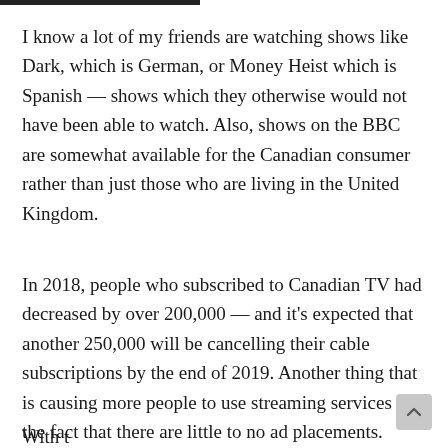I know a lot of my friends are watching shows like Dark, which is German, or Money Heist which is Spanish — shows which they otherwise would not have been able to watch. Also, shows on the BBC are somewhat available for the Canadian consumer rather than just those who are living in the United Kingdom.
In 2018, people who subscribed to Canadian TV had decreased by over 200,000 — and it's expected that another 250,000 will be cancelling their cable subscriptions by the end of 2019. Another thing that is causing more people to use streaming services is the fact that there are little to no ad placements.
With streaming also comes the full buffet of content